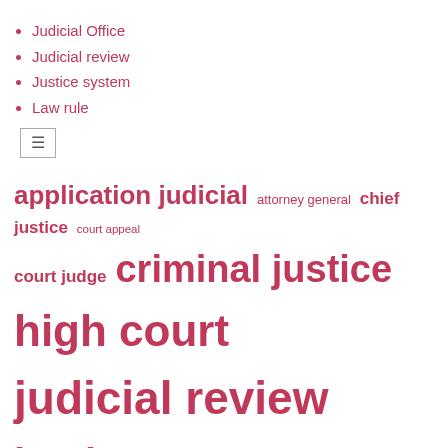Judicial Office
Judicial review
Justice system
Law rule
[Figure (other): Hamburger menu icon button]
application judicial  attorney general  chief justice  court appeal  court judge  criminal justice  high court  judicial review  justice system  law enforcement  review decision  seek judicial  supreme court  united states  young people
RECENT POSTS
How Can ACFA Cashflow Help You With Your Payday Loan Application in The United States
Two protect groups call for judicial review of Karnataka prior order